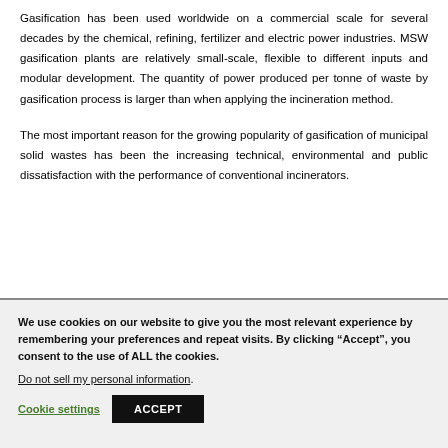Gasification has been used worldwide on a commercial scale for several decades by the chemical, refining, fertilizer and electric power industries. MSW gasification plants are relatively small-scale, flexible to different inputs and modular development. The quantity of power produced per tonne of waste by gasification process is larger than when applying the incineration method.
The most important reason for the growing popularity of gasification of municipal solid wastes has been the increasing technical, environmental and public dissatisfaction with the performance of conventional incinerators.
We use cookies on our website to give you the most relevant experience by remembering your preferences and repeat visits. By clicking “Accept”, you consent to the use of ALL the cookies. Do not sell my personal information.
Cookie settings | ACCEPT